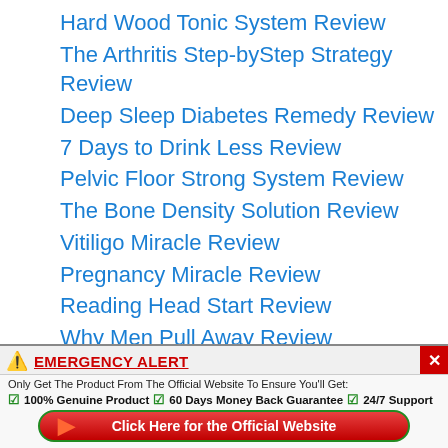Hard Wood Tonic System Review
The Arthritis Step-byStep Strategy Review
Deep Sleep Diabetes Remedy Review
7 Days to Drink Less Review
Pelvic Floor Strong System Review
The Bone Density Solution Review
Vitiligo Miracle Review
Pregnancy Miracle Review
Reading Head Start Review
Why Men Pull Away Review
EMERGENCY ALERT - Only Get The Product From The Official Website To Ensure You'll Get: 100% Genuine Product ✓ 60 Days Money Back Guarantee ✓ 24/7 Support - Click Here for the Official Website